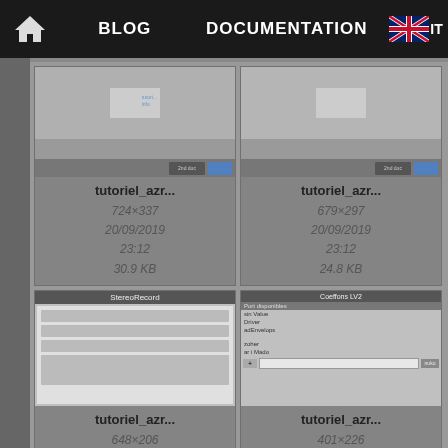BLOG   DOCUMENTATION
[Figure (screenshot): Thumbnail of tutoriel_azr image, 724×337, 20/09/2019 23:12, 30.9 KB]
[Figure (screenshot): Thumbnail of tutoriel_azr image, 679×297, 20/09/2019 23:12, 24.8 KB]
[Figure (screenshot): Thumbnail of tutoriel_azr StereoRecord image, 648×206, 20/09/2019 23:12, 7.4 KB]
[Figure (screenshot): Thumbnail of tutoriel_azr Coeffons LV2 image, 401×226, 20/09/2019 23:12, 17.1 KB]
[Figure (screenshot): Partial thumbnail at bottom left]
[Figure (screenshot): Partial thumbnail at bottom right]